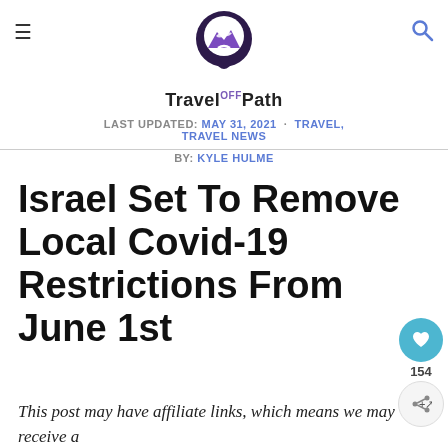[Figure (logo): TravelOffPath logo: map pin icon with mountain/road silhouette in purple, text 'Travel Off Path' below]
LAST UPDATED: MAY 31, 2021 · TRAVEL, TRAVEL NEWS | BY: KYLE HULME
Israel Set To Remove Local Covid-19 Restrictions From June 1st
This post may have affiliate links, which means we may receive a small commission (at no extra cost to you!) if you choose to purchase